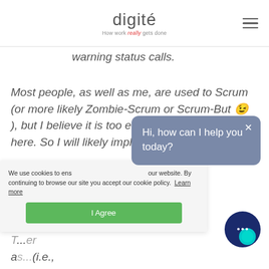[Figure (logo): Digite logo with tagline 'How work really gets done']
warning status calls.
Most people, as well as me, are used to Scrum (or more likely Zombie-Scrum or Scrum-But 😉 ), but I believe it is too early to do proper Scrum here. So I will likely implement Kanban (in Jira).
Hi, how can I help you today?
We use cookies to ensure the best experience on our website. By continuing to browse our site you accept our cookie policy. Learn more
I Agree
...er as... (i.e., in development, in testing etc.)? I think I'd prefer the first because it very clearly